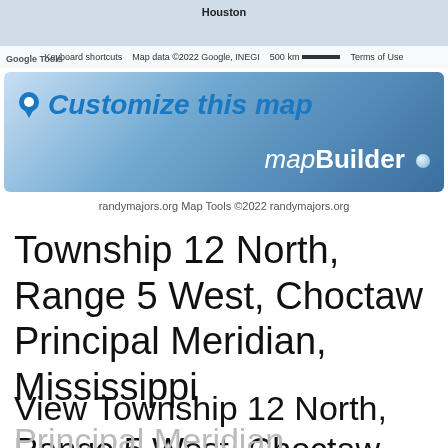[Figure (map): Google Maps screenshot showing Houston area with map credits. Footer bar shows: Keyboard shortcuts | Map data ©2022 Google, INEGI | 500 km scale bar | Terms of Use]
[Figure (screenshot): mapBuilder banner with pin icon, 'Customize this map' text in blue italic, and 'mapBuilder' branding with blue dot on gradient blue background]
randymajors.org Map Tools ©2022 randymajors.org
Township 12 North, Range 5 West, Choctaw Principal Meridian, Mississippi
View Township 12 North, Range 5 West, Choctaw Principal Meridian,